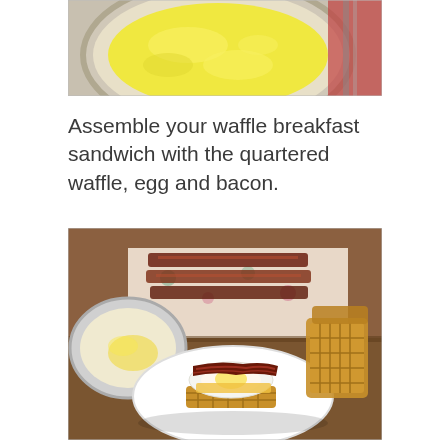[Figure (photo): Top portion of a pan with scrambled eggs, partially cropped, with a red napkin and fork visible at right]
Assemble your waffle breakfast sandwich with the quartered waffle, egg and bacon.
[Figure (photo): A waffle breakfast sandwich on a white plate with a fried egg and bacon between quartered waffles. In the background: an empty bowl, strips of bacon on a patterned napkin, and stacked waffle quarters.]